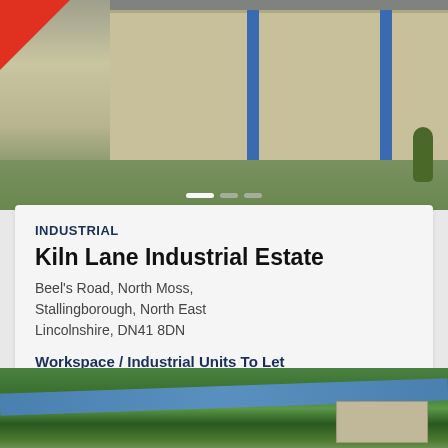[Figure (photo): Exterior photo of an industrial building with brick/panel facade, blue vertical stripe columns, green lawn, and red corner banner. Carousel navigation dots visible at bottom.]
INDUSTRIAL
Kiln Lane Industrial Estate
Beel's Road, North Moss, Stallingborough, North East Lincolnshire, DN41 8DN
Workspace / Industrial Units To Let
Units sizes range from 2,422 sq ft
[Figure (photo): Aerial photo of a property near a river, surrounded by trees with autumn foliage, showing a large estate or industrial complex from above.]